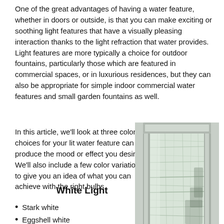One of the great advantages of having a water feature, whether in doors or outside, is that you can make exciting or soothing light features that have a visually pleasing interaction thanks to the light refraction that water provides. Light features are more typically a choice for outdoor fountains, particularly those which are featured in commercial spaces, or in luxurious residences, but they can also be appropriate for simple indoor commercial water features and small garden fountains as well.
In this article, we'll look at three color choices for your lit water feature can produce the mood or effect you desire. We'll also include a few color variations to give you an idea of what you can achieve with the right bulbs.
[Figure (photo): A tall indoor water feature with water flowing over a glass/stone panel in a metal frame, showing the light refraction and texture of flowing water.]
White Light
Stark white
Eggshell white